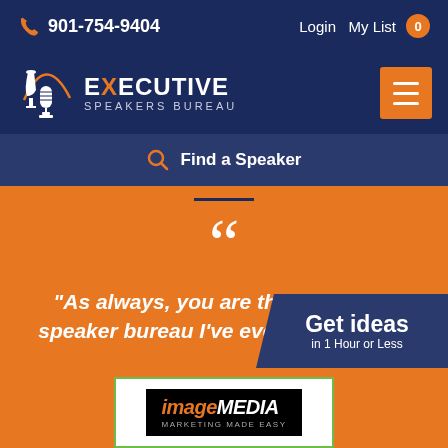901-754-9404   Login   My List 0
[Figure (logo): Executive Speakers Bureau logo with microphone icon and orange arc]
Find a Speaker
"As always, you are the best mo... speaker bureau I've ever wo...
Get ideas in 1 Hour or Less
[Figure (logo): imageMEDIA Marketing Made Easy logo on white card with green border]